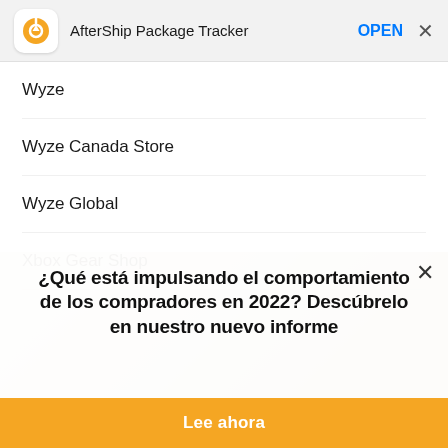[Figure (screenshot): AfterShip Package Tracker app banner with orange icon, app name, OPEN button and X close button on gray background]
Wyze
Wyze Canada Store
Wyze Global
Xbox Gear Shop
¿Qué está impulsando el comportamiento de los compradores en 2022? Descúbrelo en nuestro nuevo informe
Lee ahora